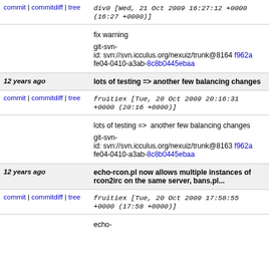commit | commitdiff | tree   div0 [Wed, 21 Oct 2009 16:27:12 +0000 (16:27 +0000)]
fix warning

git-svn-id: svn://svn.icculus.org/nexuiz/trunk@8164 f962afe04-0410-a3ab-8c8b0445ebaa
12 years ago   lots of testing => another few balancing changes
commit | commitdiff | tree   fruitiex [Tue, 20 Oct 2009 20:16:31 +0000 (20:16 +0000)]
lots of testing =>  another few balancing changes

git-svn-id: svn://svn.icculus.org/nexuiz/trunk@8163 f962afe04-0410-a3ab-8c8b0445ebaa
12 years ago   echo-rcon.pl now allows multiple instances of rcon2irc on the same server, bans.pl...
commit | commitdiff | tree   fruitiex [Tue, 20 Oct 2009 17:58:55 +0000 (17:58 +0000)]
echo-